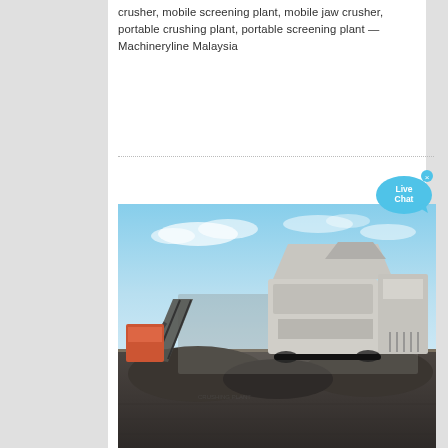crusher, mobile screening plant, mobile jaw crusher, portable crushing plant, portable screening plant — Machineryline Malaysia
[Figure (photo): A mobile crushing and screening plant setup outdoors on a dirt/gravel site with machinery including conveyor belts and large industrial equipment under a blue sky with clouds.]